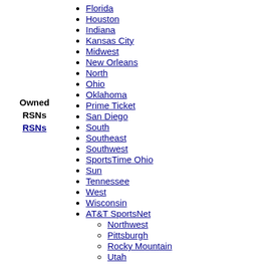Owned RSNs
Florida
Houston
Indiana
Kansas City
Midwest
New Orleans
North
Ohio
Oklahoma
Prime Ticket
San Diego
South
Southeast
Southwest
SportsTime Ohio
Sun
Tennessee
West
Wisconsin
AT&T SportsNet
Northwest
Pittsburgh
Rocky Mountain
Utah